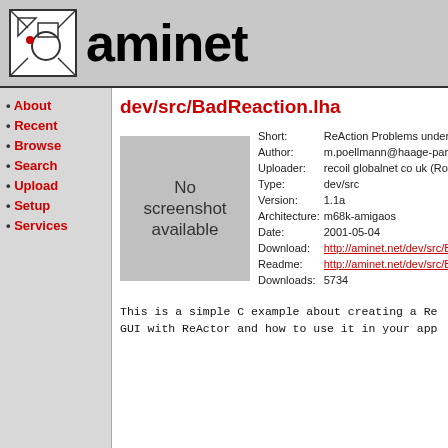aminet
dev/src/BadReaction.lha
About
Recent
Browse
Search
Upload
Setup
Services
[Figure (screenshot): No screenshot available placeholder box]
| Field | Value |
| --- | --- |
| Short: | ReAction Problems under |
| Author: | m.poellmann@haage-partn |
| Uploader: | recoil globalnet co uk (Rob |
| Type: | dev/src |
| Version: | 1.1a |
| Architecture: | m68k-amigaos |
| Date: | 2001-05-04 |
| Download: | http://aminet.net/dev/src/B |
| Readme: | http://aminet.net/dev/src/B |
| Downloads: | 5734 |
This is a simple C example about creating a Re GUI with ReActor and how to use it in your app